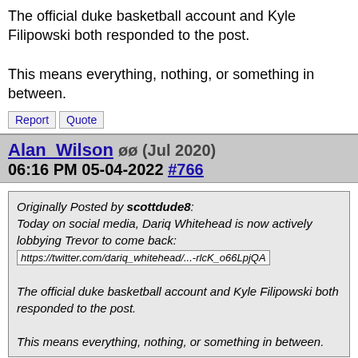The official duke basketball account and Kyle Filipowski both responded to the post.

This means everything, nothing, or something in between.
Report
Quote
Alan_Wilson (Jul 2020) 06:16 PM 05-04-2022 #766
Originally Posted by scottdude8: Today on social media, Dariq Whitehead is now actively lobbying Trevor to come back: https://twitter.com/dariq_whitehead/...-rlcK_o66LpjQA

The official duke basketball account and Kyle Filipowski both responded to the post.

This means everything, nothing, or something in between.
I really think another year would be great for Trevor. He